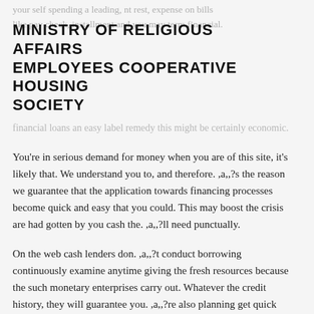your self spending a leading, nt rest, expense on bills like pay check, installment and you may term financial loans an easy label remedy this might be certainly economic.
MINISTRY OF RELIGIOUS AFFAIRS EMPLOYEES COOPERATIVE HOUSING SOCIETY
financial loans an easy label remedy this might be certainly economic.
You're in serious demand for money when you are of this site, it's likely that. We understand you to, and therefore. ,a,,?s the reason we guarantee that the application towards financing processes become quick and easy that you could. This may boost the crisis are had gotten by you cash the. ,a,,?ll need punctually.
On the web cash lenders don. ,a,,?t conduct borrowing continuously examine anytime giving the fresh resources because the such monetary enterprises carry out. Whatever the credit history, they will guarantee you. ,a,,?re also planning get quick alternatives one right